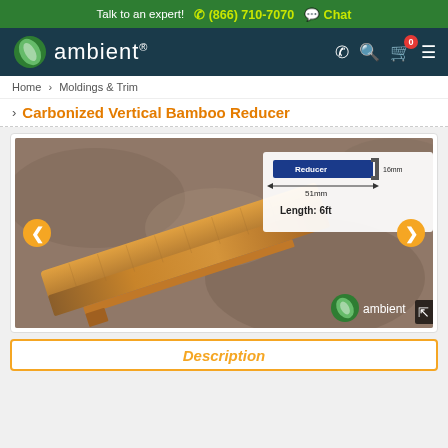Talk to an expert! ☎ (866) 710-7070 💬 Chat
[Figure (logo): Ambient flooring logo with leaf icon and brand name on dark navy background]
Home > Moldings & Trim
Carbonized Vertical Bamboo Reducer
[Figure (photo): Product photo of a carbonized vertical bamboo reducer molding piece on a stone surface, with a diagram showing reducer cross-section dimensions: 51mm width, 16mm height, Length: 6ft, with amber colored Ambient branding logo]
Description